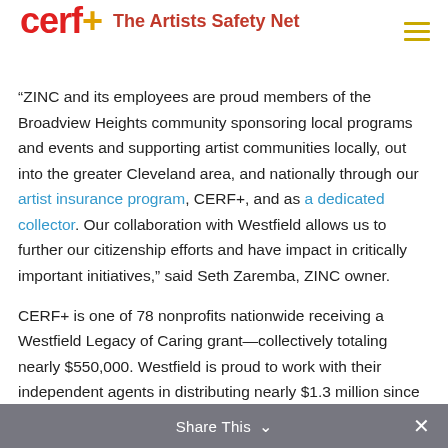cerf+ The Artists Safety Net
"ZINC and its employees are proud members of the Broadview Heights community sponsoring local programs and events and supporting artist communities locally, out into the greater Cleveland area, and nationally through our artist insurance program, CERF+, and as a dedicated collector. Our collaboration with Westfield allows us to further our citizenship efforts and have impact in critically important initiatives," said Seth Zaremba, ZINC owner.
CERF+ is one of 78 nonprofits nationwide receiving a Westfield Legacy of Caring grant—collectively totaling nearly $550,000. Westfield is proud to work with their independent agents in distributing nearly $1.3 million since the onset of the Legacy of
Share This ∨  ✕